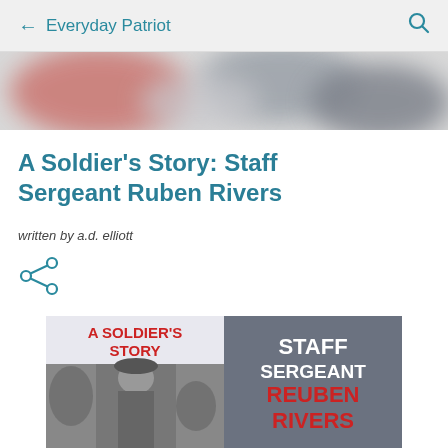← Everyday Patriot 🔍
[Figure (photo): Blurred banner image with red and dark gray/blue tones, appears to be a partially visible photo]
A Soldier's Story: Staff Sergeant Ruben Rivers
written by a.d. elliott
[Figure (illustration): Share icon (less-than sign with dots)]
[Figure (photo): Book cover image split in two halves. Left half: light background with red bold text 'A SOLDIER'S STORY' above a black-and-white photo of a soldier in uniform. Right half: dark gray-blue background with bold white and red text reading 'STAFF SERGEANT REUBEN RIVERS']